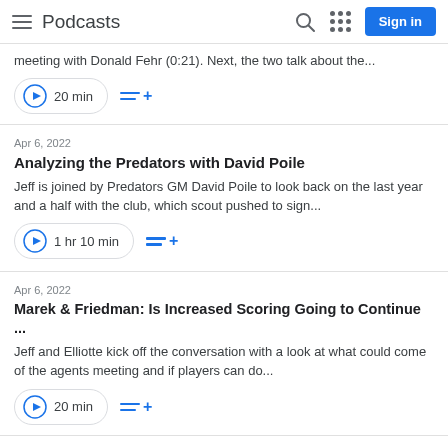Podcasts
meeting with Donald Fehr (0:21). Next, the two talk about the...
20 min
Apr 6, 2022
Analyzing the Predators with David Poile
Jeff is joined by Predators GM David Poile to look back on the last year and a half with the club, which scout pushed to sign...
1 hr 10 min
Apr 6, 2022
Marek & Friedman: Is Increased Scoring Going to Continue ...
Jeff and Elliotte kick off the conversation with a look at what could come of the agents meeting and if players can do...
20 min